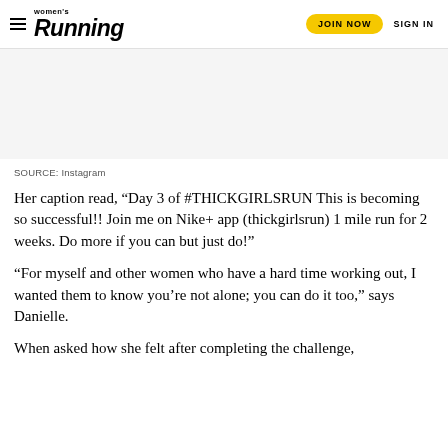women's Running | JOIN NOW | SIGN IN
[Figure (photo): Image placeholder area (photo not visible)]
SOURCE: Instagram
Her caption read, “Day 3 of #THICKGIRLSRUN This is becoming so successful!! Join me on Nike+ app (thickgirlsrun) 1 mile run for 2 weeks. Do more if you can but just do!”
“For myself and other women who have a hard time working out, I wanted them to know you’re not alone; you can do it too,” says Danielle.
When asked how she felt after completing the challenge,